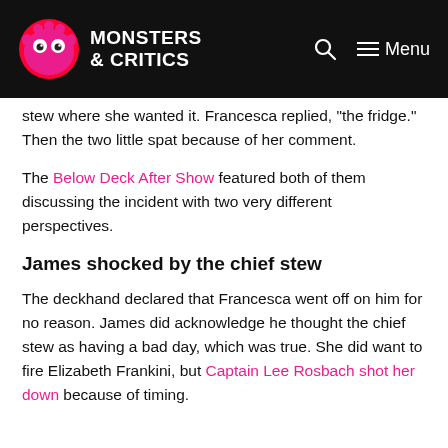Monsters & Critics — Menu
stew where she wanted it. Francesca replied, "the fridge." Then the two little spat because of her comment.
The Below Deck After Show featured both of them discussing the incident with two very different perspectives.
James shocked by the chief stew
The deckhand declared that Francesca went off on him for no reason. James did acknowledge he thought the chief stew as having a bad day, which was true. She did want to fire Elizabeth Frankini, but Captain Lee Rosbach shot her down because of timing.